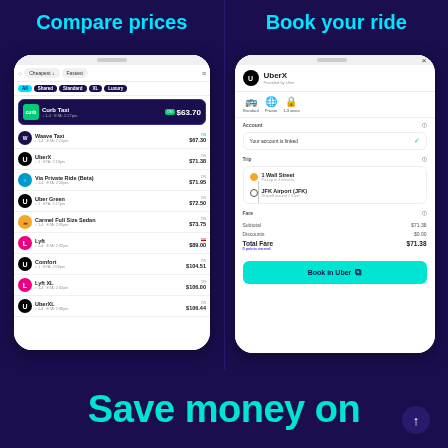Compare prices
[Figure (screenshot): Mobile app screenshot showing a ride comparison list with options including Curb Taxi ($63.70), Waave Taxi ($67.30), UberX ($71.38), Via Private Ride Beta ($71.95), Uber Green ($72.50), Carmel Full Size Sedan ($73.75), Lyft ($89.00), Comfort ($104.51), Lyft XL ($106.00), UberXL ($106.44)]
Book your ride
[Figure (screenshot): Mobile app screenshot showing UberX booking screen with Standard/Private/1-3 seats tabs, account linked, trip from 1 Wall Street to JFK Airport (JFK), Subtotal $71.38, Discounts $0.00, Total Fare $71.38, Book in Uber button]
Save money on